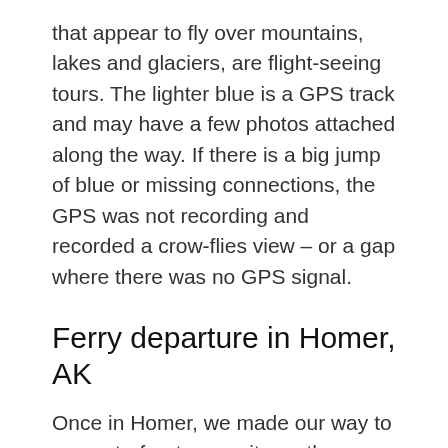that appear to fly over mountains, lakes and glaciers, are flight-seeing tours. The lighter blue is a GPS track and may have a few photos attached along the way. If there is a big jump of blue or missing connections, the GPS was not recording and recorded a crow-flies view – or a gap where there was no GPS signal.
Ferry departure in Homer, AK
Once in Homer, we made our way to our waterfront campsite on the Homer Spit. Homer Spit is a natural gravel/sandbar extending out into the Kachemak Bay, an arm of the Cook inlet – just inside the Gulf of Alaska. The Homer Spit survived only